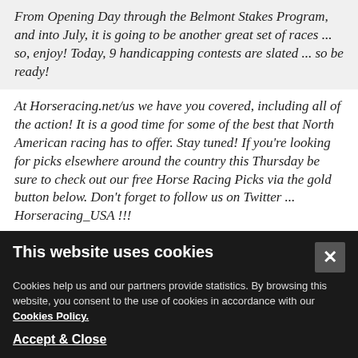From Opening Day through the Belmont Stakes Program, and into July, it is going to be another great set of races ... so, enjoy! Today, 9 handicapping contests are slated ... so be ready!
At Horseracing.net/us we have you covered, including all of the action! It is a good time for some of the best that North American racing has to offer. Stay tuned! If you're looking for picks elsewhere around the country this Thursday be sure to check out our free Horse Racing Picks via the gold button below. Don't forget to follow us on Twitter ... Horseracing_USA !!!
[Figure (other): Gold colored button for Horse Racing Picks]
This website uses cookies
Cookies help us and our partners provide statistics. By browsing this website, you consent to the use of cookies in accordance with our Cookies Policy.
Accept & Close